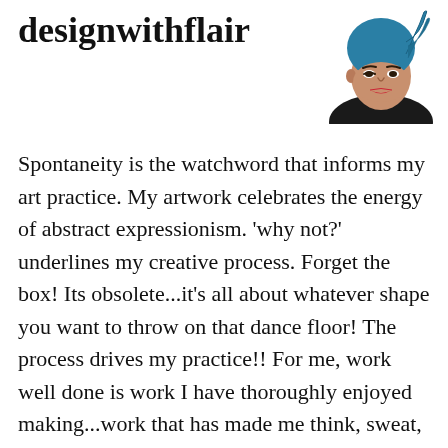designwithflair
[Figure (illustration): Illustrated portrait of a woman with blue braided hair wrap, red lips, wearing a dark top, facing slightly to the right.]
Spontaneity is the watchword that informs my art practice. My artwork celebrates the energy of abstract expressionism. 'why not?' underlines my creative process. Forget the box! Its obsolete...it's all about whatever shape you want to throw on that dance floor! The process drives my practice!! For me, work well done is work I have thoroughly enjoyed making...work that has made me think, sweat, cry, scream and come back for more!!! Work that gets my back up, pushes me, gives me cause...